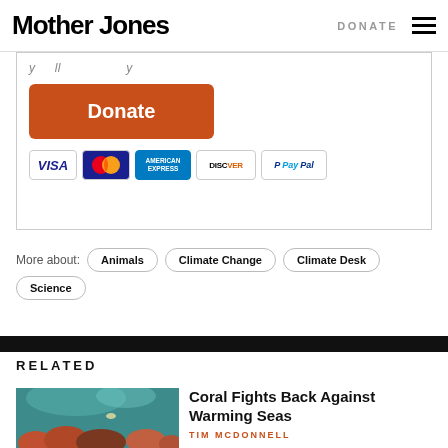Mother Jones | DONATE
[Figure (other): Donate button and payment method icons (Visa, MasterCard, American Express, Discover, PayPal)]
More about: Animals | Climate Change | Climate Desk | Science
RELATED
[Figure (photo): Underwater coral reef photo]
Coral Fights Back Against Warming Seas
TIM MCDONNELL